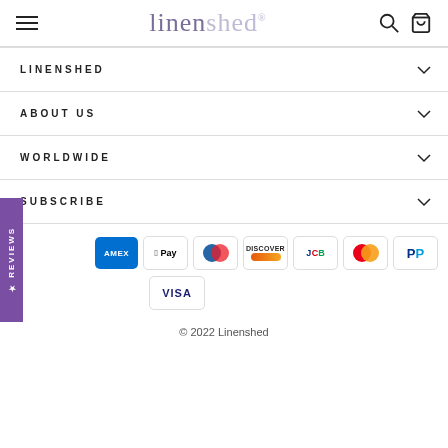linenshed
LINENSHED
ABOUT US
WORLDWIDE
SUBSCRIBE
[Figure (other): Payment method icons: American Express, Apple Pay, Diners Club, Discover, JCB, Mastercard, PayPal, Visa]
© 2022 Linenshed